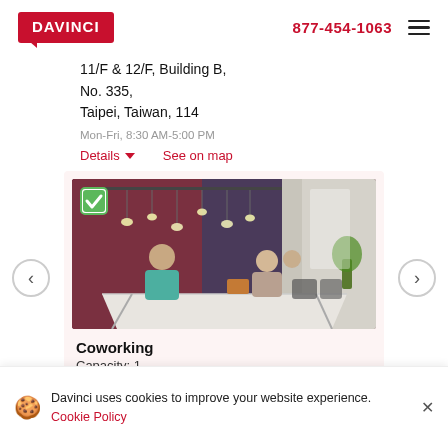DAVINCI  877-454-1063
11/F & 12/F, Building B,
No. 335,
Taipei, Taiwan, 114
Mon-Fri, 8:30 AM-5:00 PM
Details   See on map
[Figure (photo): Office coworking space with a large white table, people working, pendant lights, and a maroon accent wall]
Coworking
Capacity: 1
Davinci uses cookies to improve your website experience. Cookie Policy